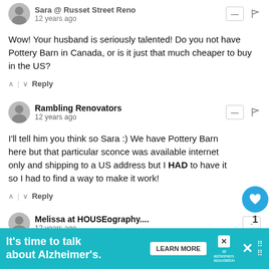Sara @ Russet Street Reno — 12 years ago
Wow! Your husband is seriously talented! Do you not have Pottery Barn in Canada, or is it just that much cheaper to buy in the US?
↑ | ↓  Reply
Rambling Renovators — 12 years ago
I'll tell him you think so Sara :) We have Pottery Barn here but that particular sconce was available internet only and shipping to a US address but I HAD to have it so I had to find a way to make it work!
↑ | ↓  Reply
Melissa at HOUSEography.... — 12 years ago
It looks adorable! Taking some time this week to read some of your older posts since I a…
WHAT'S NEXT → Master Bedroom: R...
It's time to talk about Alzheimer's.  LEARN MORE